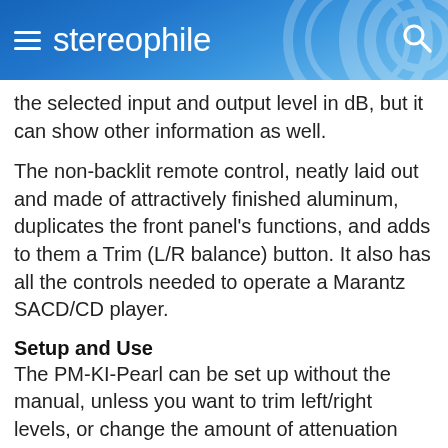stereophile
the selected input and output level in dB, but it can show other information as well.
The non-backlit remote control, neatly laid out and made of attractively finished aluminum, duplicates the front panel's functions, and adds to them a Trim (L/R balance) button. It also has all the controls needed to operate a Marantz SACD/CD player.
Setup and Use
The PM-KI-Pearl can be set up without the manual, unless you want to trim left/right levels, or change the amount of attenuation from the factory preset of −20dB to either −40dB or silence. In that case you'll need to read a bit, but basically, the operating